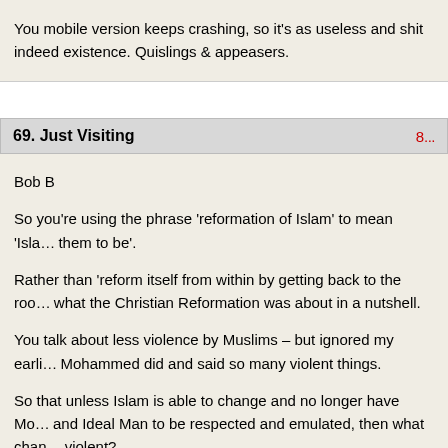You mobile version keeps crashing, so it's as useless and shit indeed existence. Quislings & appeasers.
69. Just Visiting   8...
Bob B

So you're using the phrase 'reformation of Islam' to mean 'Isla... them to be'.

Rather than 'reform itself from within by getting back to the roo... what the Christian Reformation was about in a nutshell.

You talk about less violence by Muslims – but ignored my earli... Mohammed did and said so many violent things.

So that unless Islam is able to change and no longer have Mo... and Ideal Man to be respected and emulated, then what chan... violent?